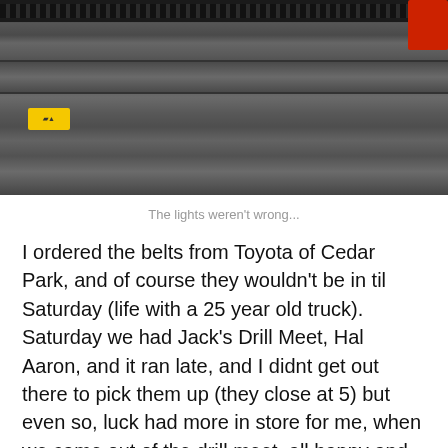[Figure (photo): Photograph of a vehicle engine bay showing metal components, a horizontal structural bar, and a yellow sticker on the left side. A red component is visible in the upper right corner.]
The lights weren't wrong...
I ordered the belts from Toyota of Cedar Park, and of course they wouldn't be in til Saturday (life with a 25 year old truck). Saturday we had Jack's Drill Meet, Hal Aaron, and it ran late, and I didnt get out there to pick them up (they close at 5) but even so, luck had more in store for me, when we came out of the drill meet, all happy and pleased with ourselves, we found the right rear tire completely flat and the Buick sitting hard on the pavement. Upon pulling it off I found two things, one it has a large screw broken off inside it, and two,